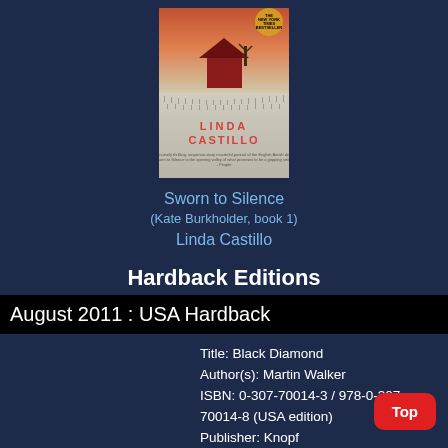[Figure (illustration): Book cover of 'Sworn to Silence' by Linda Castillo showing a red barn and snowy field with a New York Times Bestseller seal]
Sworn to Silence
(Kate Burkholder, book 1)
Linda Castillo
Hardback Editions
August 2011 : USA Hardback
Title: Black Diamond
Author(s): Martin Walker
ISBN: 0-307-70014-3 / 978-0-307-70014-8 (USA edition)
Publisher: Knopf
Availability: Amazon   Amazon UK   Amazon CA   Amazon AU
Top